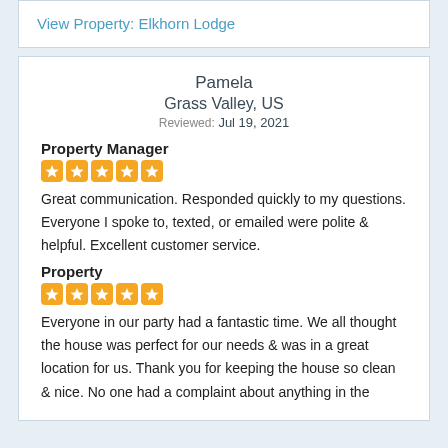View Property: Elkhorn Lodge
Pamela
Grass Valley, US
Reviewed: Jul 19, 2021
Property Manager
[Figure (other): 5 orange star rating icons]
Great communication. Responded quickly to my questions. Everyone I spoke to, texted, or emailed were polite & helpful. Excellent customer service.
Property
[Figure (other): 5 orange star rating icons]
Everyone in our party had a fantastic time. We all thought the house was perfect for our needs & was in a great location for us. Thank you for keeping the house so clean & nice. No one had a complaint about anything in the